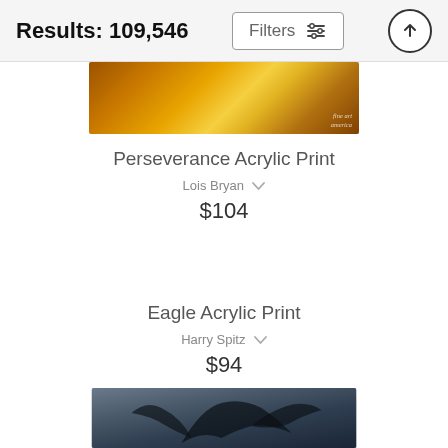Results: 109,546
Perseverance Acrylic Print
Lois Bryan
$104
[Figure (photo): Partial top edge of canvas artwork showing warm orange/yellow fiery abstract tones with Fine Art America watermark]
Eagle Acrylic Print
Harry Spitz
$94
[Figure (photo): Partial top portion of canvas artwork showing eagle in flight against blue-grey sky]